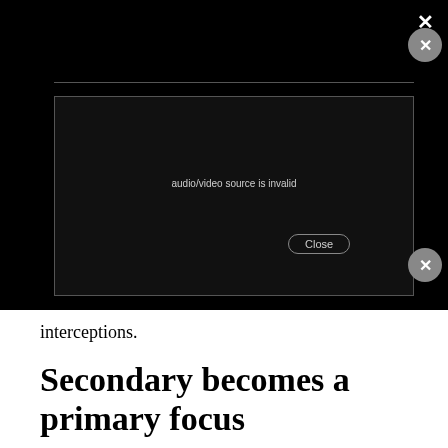[Figure (screenshot): A black video player overlay with an error dialog box showing 'audio/video source is invalid' and a 'Close' button. Two X/close circle buttons visible on the right side.]
interceptions.
Secondary becomes a primary focus